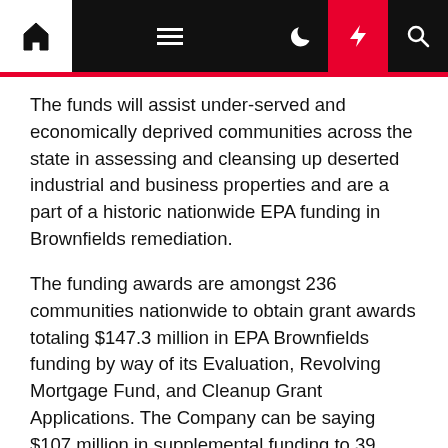[Navigation bar with home, menu, dark mode, lightning, search icons]
The funds will assist under-served and economically deprived communities across the state in assessing and cleansing up deserted industrial and business properties and are a part of a historic nationwide EPA funding in Brownfields remediation.
The funding awards are amongst 236 communities nationwide to obtain grant awards totaling $147.3 million in EPA Brownfields funding by way of its Evaluation, Revolving Mortgage Fund, and Cleanup Grant Applications. The Company can be saying $107 million in supplemental funding to 39 current Revolving Mortgage Fund grant recipients who've demonstrated success of their work to scrub up and redevelop brownfield websites. At this time's announcement contains roughly $180 million from the historic $1.5 billion funding from the Bipartisan